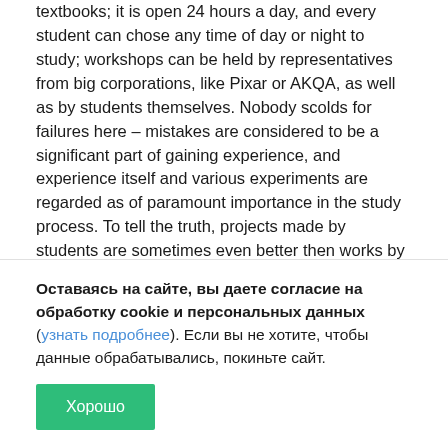textbooks; it is open 24 hours a day, and every student can chose any time of day or night to study; workshops can be held by representatives from big corporations, like Pixar or AKQA, as well as by students themselves. Nobody scolds for failures here – mistakes are considered to be a significant part of gaining experience, and experience itself and various experiments are regarded as of paramount importance in the study process. To tell the truth, projects made by students are sometimes even better then works by experienced designers and advertisers. For example, in the beginning of the year project with interactive billboards by Hyper Island students caused a stir. Billboards, equipped with motion sensors, started to show moving picture when someone was passing by. In a word, many people want to study in Hyper Island, and it's!
Оставаясь на сайте, вы даете согласие на обработку cookie и персональных данных (узнать подробнее). Если вы не хотите, чтобы данные обрабатывались, покиньте сайт.
Хорошо